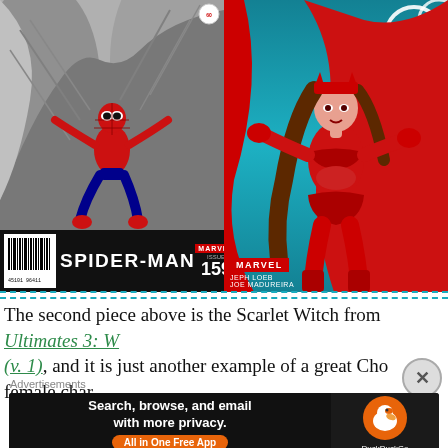[Figure (illustration): Two comic book covers side by side. Left: Spider-Man #159 Marvel cover showing Spider-Man in red-blue suit against grey stone/wing background with black title bar at bottom. Right: Marvel Ultimates 3 cover showing Scarlet Witch in red costume against teal background, credits: Jeph Loeb, Joe Madureira.]
The second piece above is the Scarlet Witch from Ultimates 3: W... (v. 1), and it is just another example of a great Cho female char...
[Figure (screenshot): DuckDuckGo advertisement banner: 'Search, browse, and email with more privacy.' with 'All in One Free App' button and DuckDuckGo logo on right.]